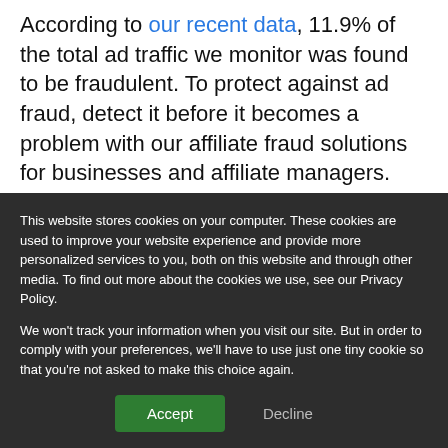According to our recent data, 11.9% of the total ad traffic we monitor was found to be fraudulent. To protect against ad fraud, detect it before it becomes a problem with our affiliate fraud solutions for businesses and affiliate managers.
Stop Ad Fraud in its Tracks
At Fraudlogix, we fight ad fraud in all its forms. We develop custom fraud prevention solutions
This website stores cookies on your computer. These cookies are used to improve your website experience and provide more personalized services to you, both on this website and through other media. To find out more about the cookies we use, see our Privacy Policy.
We won't track your information when you visit our site. But in order to comply with your preferences, we'll have to use just one tiny cookie so that you're not asked to make this choice again.